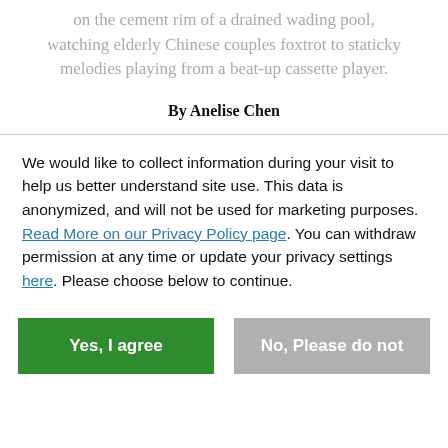on the cement rim of a drained wading pool, watching elderly Chinese couples foxtrot to staticky melodies playing from a beat-up cassette player.
By Anelise Chen
We would like to collect information during your visit to help us better understand site use. This data is anonymized, and will not be used for marketing purposes. Read More on our Privacy Policy page. You can withdraw permission at any time or update your privacy settings here. Please choose below to continue.
Yes, I agree
No, Please do not